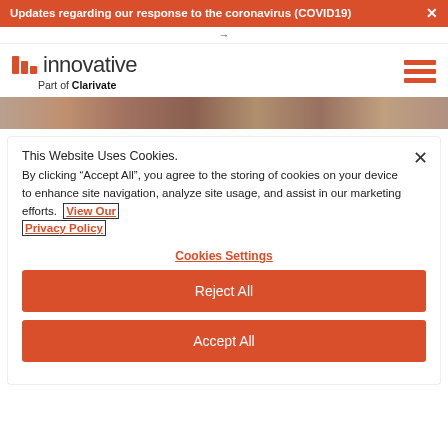Updates regarding our response to the coronavirus (COVID19)
[Figure (logo): Innovative Part of Clarivate logo with red vertical bars and hamburger menu icon]
[Figure (photo): Partial image strip showing people's faces]
This Website Uses Cookies. By clicking “Accept All”, you agree to the storing of cookies on your device to enhance site navigation, analyze site usage, and assist in our marketing efforts. View Our Privacy Policy
Cookies Settings
Reject All
Accept All